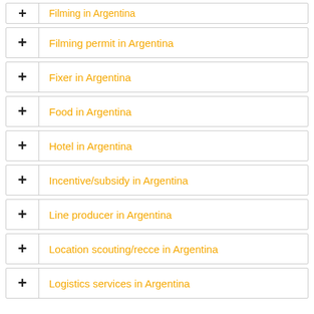Filming in Argentina
Filming permit in Argentina
Fixer in Argentina
Food in Argentina
Hotel in Argentina
Incentive/subsidy in Argentina
Line producer in Argentina
Location scouting/recce in Argentina
Logistics services in Argentina